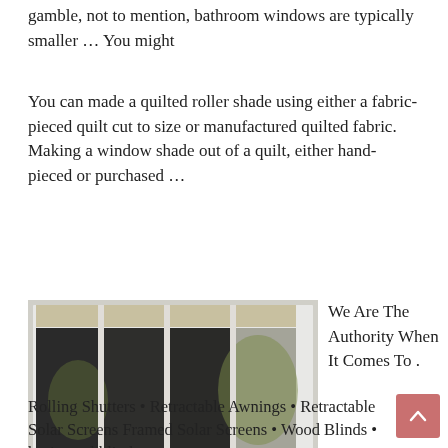gamble, not to mention, bathroom windows are typically smaller … You might
You can made a quilted roller shade using either a fabric-pieced quilt cut to size or manufactured quilted fabric. Making a window shade out of a quilt, either hand-pieced or purchased …
[Figure (photo): Image of roller shades on windows with text overlay reading 'ROLLER SHADE & SOLAR SHADE OPACITIES']
We Are The Authority When It Comes To .
Rolling Shutters • Retractable Awnings • Retractable Solar Screens Framed Solar Screens • Wood Blinds • horizontal blinds.